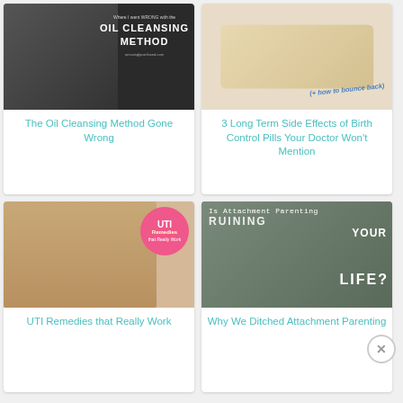[Figure (photo): Woman pressing white cloth to face with text 'Where I went WRONG with the OIL CLEANSING METHOD']
The Oil Cleansing Method Gone Wrong
[Figure (photo): Hand holding birth control pill pack with text '(+ how to bounce back)']
3 Long Term Side Effects of Birth Control Pills Your Doctor Won't Mention
[Figure (photo): Person's feet in pink checkered garment near toilet with UTI Remedies that Really Work circle logo]
UTI Remedies that Really Work
[Figure (photo): Crying baby with text 'Is Attachment Parenting RUINING YOUR LIFE?']
Why We Ditched Attachment Parenting